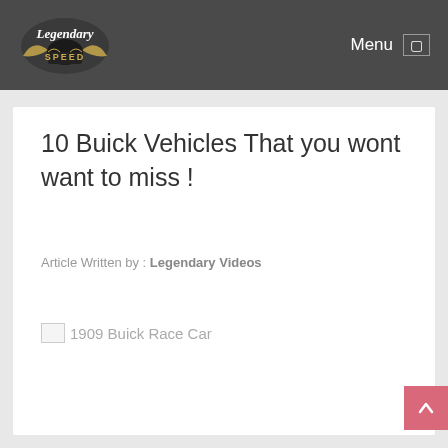[Figure (logo): Legendary Speed logo — script text 'Legendary Speed' with wing/banner emblem on dark header background]
Menu ☰
10 Buick Vehicles That you wont want to miss !
Article Written by : Legendary Videos
[Figure (photo): Broken image placeholder for 1909 Buick Race Car]
1909 Buick Race Car